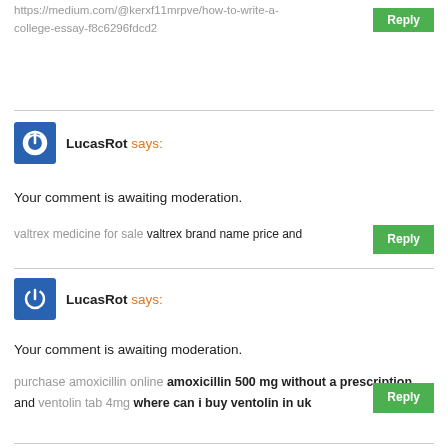https://medium.com/@kerxf11mrpve/how-to-write-a-college-essay-f8c6296fdcd2
Reply
LucasRot says:
Your comment is awaiting moderation.
valtrex medicine for sale valtrex brand name price and
Reply
LucasRot says:
Your comment is awaiting moderation.
purchase amoxicillin online amoxicillin 500 mg without a prescription and ventolin tab 4mg where can i buy ventolin in uk
Reply